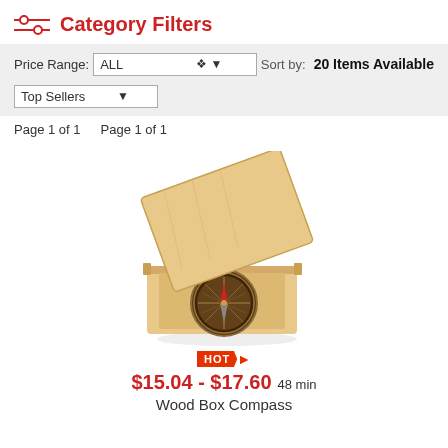Category Filters
Price Range: ALL   Sort by:   20 Items Available
Top Sellers
Page 1 of 1    Page 1 of 1
[Figure (photo): A wooden box compass — an open square wooden box with a bronze antique compass inside.]
HOT
$15.04 - $17.60 48 min
Wood Box Compass